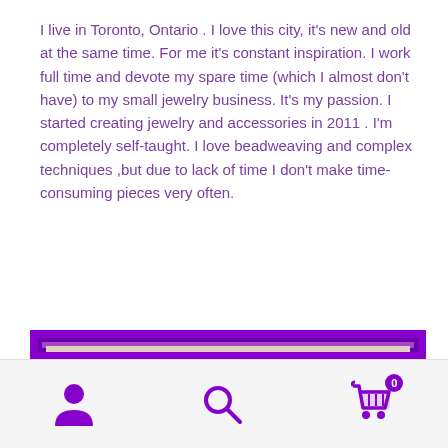I live in Toronto, Ontario . I love this city, it's new and old at the same time. For me it's constant inspiration. I work full time and devote my spare time (which I almost don't have) to my small jewelry business. It's my passion. I started creating jewelry and accessories in 2011 . I'm completely self-taught. I love beadweaving and complex techniques ,but due to lack of time I don't make time-consuming pieces very often.
[Figure (photo): Photo of decorative earrings displayed on a beige ceramic vase, shown inside a purple decorative frame. The earrings appear to have ornate bronze-colored frames with colorful floral designs.]
Navigation bar with user icon, search icon, and cart icon (0 items)